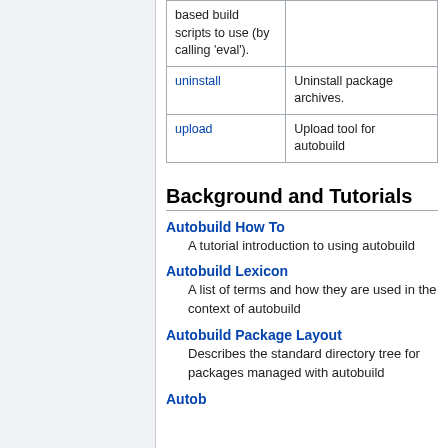| Command | Description |
| --- | --- |
| uninstall | Uninstall package archives. |
| upload | Upload tool for autobuild |
Background and Tutorials
Autobuild How To
A tutorial introduction to using autobuild
Autobuild Lexicon
A list of terms and how they are used in the context of autobuild
Autobuild Package Layout
Describes the standard directory tree for packages managed with autobuild